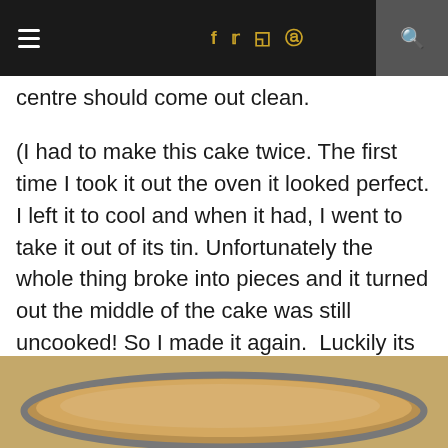☰  f  𝕏  📷  𝗣  🔍
centre should come out clean.
(I had to make this cake twice. The first time I took it out the oven it looked perfect. I left it to cool and when it had, I went to take it out of its tin. Unfortunately the whole thing broke into pieces and it turned out the middle of the cake was still uncooked! So I made it again.  Luckily its so easy to make, it didn't cause too much of a problem. The next time I made it I kept it in for about 45 minutes and it came out fully cooked through.)
[Figure (photo): A round cake in a metal tin viewed from above, showing a golden-brown top surface.]